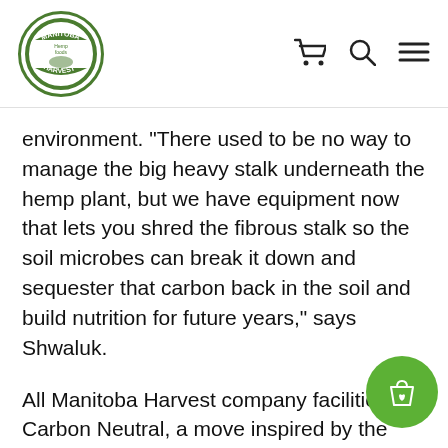Manitoba Harvest logo, cart icon, search icon, menu icon
environment. "There used to be no way to manage the big heavy stalk underneath the hemp plant, but we have equipment now that lets you shred the fibrous stalk so the soil microbes can break it down and sequester that carbon back in the soil and build nutrition for future years," says Shwaluk.
All Manitoba Harvest company facilities are Carbon Neutral, a move inspired by the hemp plant itself. Hemp absorbs roughly 1.63 tons of CO2 per ton grown. And all greenhouse gases produced by Manitoba Harvest, including Canadian-based production, packing and management facilities, and our Minneapolis-